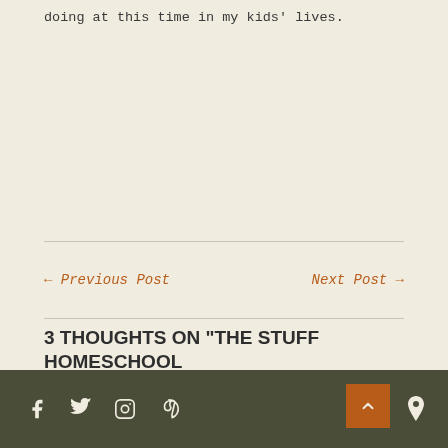doing at this time in my kids' lives.
← Previous Post
Next Post →
3 THOUGHTS ON "THE STUFF HOMESCHOOL DREAMS ARE MADE OF"
Social icons: Facebook, Twitter, Instagram, Pinterest